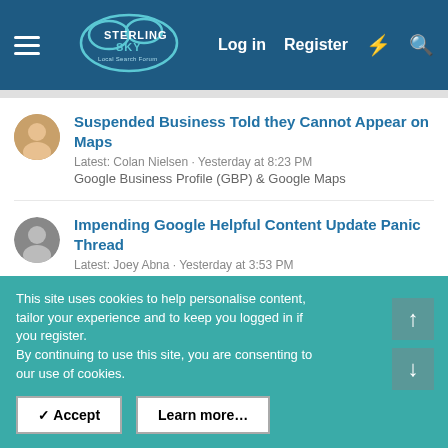Sterling Sky Local Search Forum — Log in | Register
Suspended Business Told they Cannot Appear on Maps
Latest: Colan Nielsen · Yesterday at 8:23 PM
Google Business Profile (GBP) & Google Maps
Impending Google Helpful Content Update Panic Thread
Latest: Joey Abna · Yesterday at 3:53 PM
Organic SEO
GBP Verification for Law Firm, Postcards Don't Arrive, No Storefront
Latest: JeffClevelandTN · Yesterday at 3:24 PM
Help & Support for Google Local
Location Spam in Business Name
This site uses cookies to help personalise content, tailor your experience and to keep you logged in if you register.
By continuing to use this site, you are consenting to our use of cookies.
✓ Accept   Learn more…